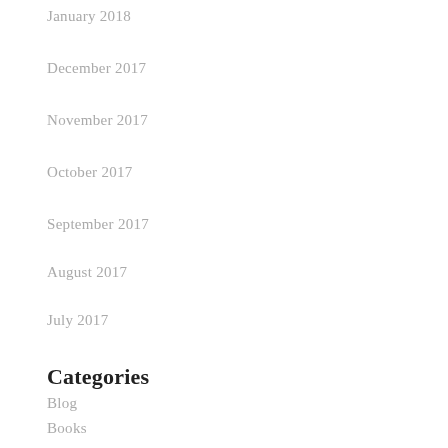January 2018
December 2017
November 2017
October 2017
September 2017
August 2017
July 2017
Categories
Blog
Books
Interview